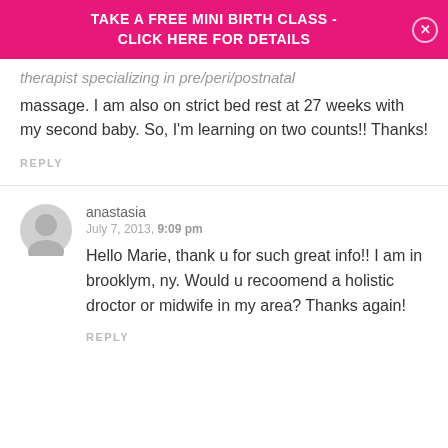TAKE A FREE MINI BIRTH CLASS - CLICK HERE FOR DETAILS
therapist specializing in pre/peri/postnatal massage. I am also on strict bed rest at 27 weeks with my second baby. So, I'm learning on two counts!! Thanks!
REPLY
anastasia
July 7, 2013, 9:09 pm
Hello Marie, thank u for such great info!! I am in brooklym, ny. Would u recoomend a holistic droctor or midwife in my area? Thanks again!
REPLY